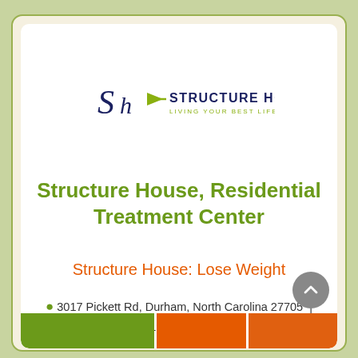[Figure (logo): Structure House logo with stylized 'Sh' letters and leaf/arrow icon, text reading 'STRUCTURE HOUSE' and 'LIVING YOUR BEST LIFE']
Structure House, Residential Treatment Center
Structure House: Lose Weight
3017 Pickett Rd, Durham, North Carolina 27705 | (919) 351-8293